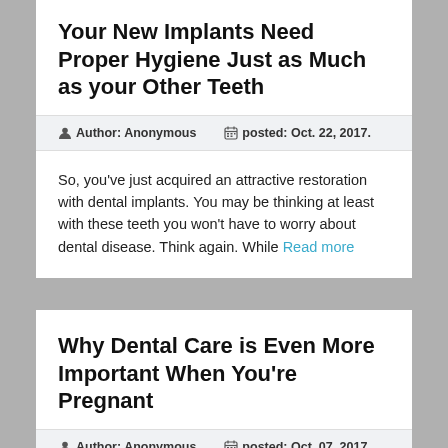Your New Implants Need Proper Hygiene Just as Much as your Other Teeth
Author: Anonymous   posted: Oct. 22, 2017.
So, you've just acquired an attractive restoration with dental implants. You may be thinking at least with these teeth you won't have to worry about dental disease. Think again. While Read more
Why Dental Care is Even More Important When You're Pregnant
Author: Anonymous   posted: Oct. 07, 2017.
Learning you're pregnant can be a joyous